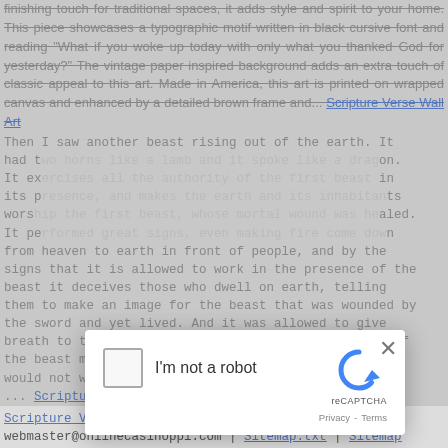finishing touch for traditional spaces, it adds style and spirit to your home. This piece showcases a typographic motif written in black cursive font and reading "What if you woke up today with only what you thanked God for yesterday?" The vintage paper inspired background adds an extra touch of classic appeal to this art. Made in America, this art is printed on wrapped canvas and enhanced by a detailed brown frame and... Scripture Verse Wall Art
Then I saw another beast rising out of the earth. It had two horns like a lamb and it spoke like a dragon. It exercises all the authority of the first beast in its presence, and makes the earth and its inhabitants worship the first beast, whose mortal wound was healed. It performed great signs, even making fire come down from heaven to earth in front of people, and by the signs that it is allowed to work in the presence of the beast it deceives those who dwell on earth, telling them to make an image for the beast that was wounded by the sword and yet lived. And it was allowed to give breath to the image of the beast, so that the image of the beast might even speak and might cause those who would not worship the image of the beast to be slain. ... Scripture Verse Wall Art
[Figure (other): reCAPTCHA modal dialog with checkbox 'I'm not a robot', reCAPTCHA logo, Privacy and Terms links, and close X button]
Scripture Verse Wall Art Contact us at webmaster@onlinecasinoppl.com | Sitemap.txt | Sitemap